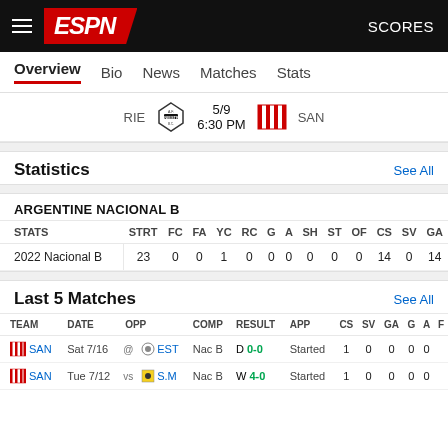ESPN  SCORES
Overview  Bio  News  Matches  Stats
RIE  5/9  6:30 PM  SAN
Statistics  See All
ARGENTINE NACIONAL B
| STATS | STRT | FC | FA | YC | RC | G | A | SH | ST | OF | CS | SV | GA |
| --- | --- | --- | --- | --- | --- | --- | --- | --- | --- | --- | --- | --- | --- |
| 2022 Nacional B | 23 | 0 | 0 | 1 | 0 | 0 | 0 | 0 | 0 | 0 | 14 | 0 | 14 |
Last 5 Matches  See All
| TEAM | DATE | OPP | COMP | RESULT | APP | CS | SV | GA | G | A | F |
| --- | --- | --- | --- | --- | --- | --- | --- | --- | --- | --- | --- |
| SAN | Sat 7/16 | @ EST | Nac B | D 0-0 | Started | 1 | 0 | 0 | 0 | 0 |  |
| SAN | Tue 7/12 | vs S.M | Nac B | W 4-0 | Started | 1 | 0 | 0 | 0 | 0 |  |